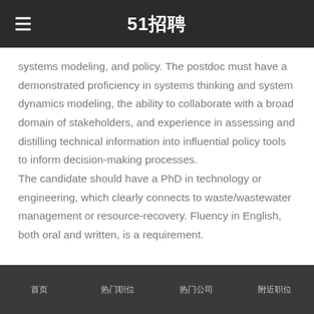51招聘
systems modeling, and policy. The postdoc must have a demonstrated proficiency in systems thinking and system dynamics modeling, the ability to collaborate with a broad domain of stakeholders, and experience in assessing and distilling technical information into influential policy tools to inform decision-making processes. The candidate should have a PhD in technology or engineering, which clearly connects to waste/wastewater management or resource-recovery. Fluency in English, both oral and written, is a requirement.
首页   热门职位   热门公司   附近职位